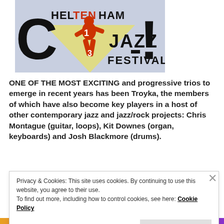[Figure (illustration): Cheltenham Jazz Festival poster showing a stylized orange figure dancing, with text 'CHELTENHAM JAZZ FESTIVAL' on a light blue/gray background]
ONE OF THE MOST EXCITING and progressive trios to emerge in recent years has been Troyka, the members of which have also become key players in a host of other contemporary jazz and jazz/rock projects: Chris Montague (guitar, loops), Kit Downes (organ, keyboards) and Josh Blackmore (drums).
Privacy & Cookies: This site uses cookies. By continuing to use this website, you agree to their use.
To find out more, including how to control cookies, see here: Cookie Policy
Close and accept